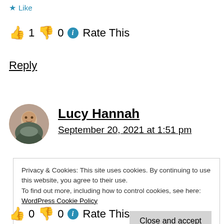★ Like
👍 1 👎 0 ℹ Rate This
Reply
Lucy Hannah
September 20, 2021 at 1:51 pm
Privacy & Cookies: This site uses cookies. By continuing to use this website, you agree to their use.
To find out more, including how to control cookies, see here: WordPress Cookie Policy
Close and accept
👍 0 👎 0 ℹ Rate This